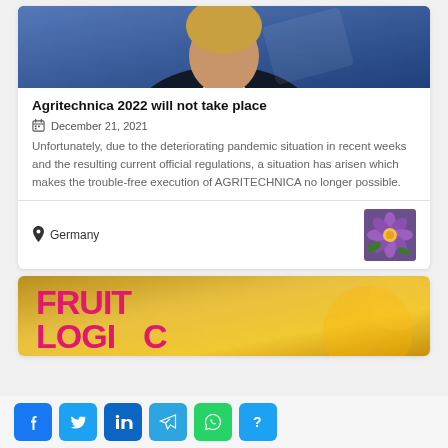[Figure (photo): Top portion of a card showing a person (partial face/torso) against a blue background]
Agritechnica 2022 will not take place
December 21, 2021
Unfortunately, due to the deteriorating pandemic situation in recent weeks and the resulting current official regulations, a situation has arisen which makes the trouble-free execution of AGRITECHNICA no longer possible.
Germany
[Figure (photo): Small thumbnail image of a purple flower]
[Figure (photo): Bottom card showing a fruit logistics banner with pink/magenta text reading FRUIT LOGI on an orange/yellow background]
[Figure (infographic): Social media sharing buttons: Facebook, Twitter, LinkedIn, Telegram, WhatsApp, and a question mark button]